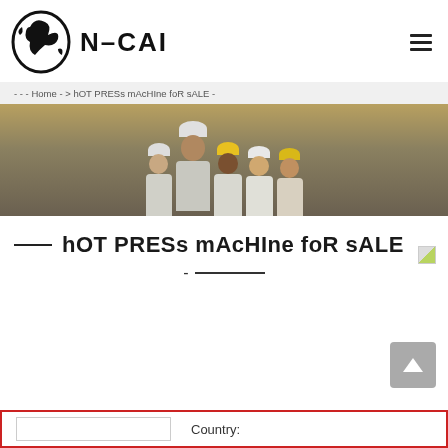[Figure (logo): N-CAI company logo with circular emblem showing a figure and N-CAI text in bold]
Home > hOT PRESs mAcHIne foR sALE
[Figure (photo): Group of construction workers wearing hard hats, smiling]
hOT PRESs mAcHIne foR sALE
Country: